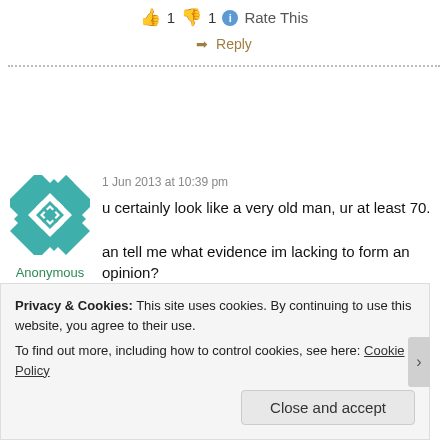👍 1 👎 1 ℹ Rate This
➡ Reply
1 Jun 2013 at 10:39 pm
[Figure (illustration): Teal and white geometric quilt-pattern avatar for Anonymous user]
Anonymous
u certainly look like a very old man, ur at least 70.
an tell me what evidence im lacking to form an opinion?
Privacy & Cookies: This site uses cookies. By continuing to use this website, you agree to their use.
To find out more, including how to control cookies, see here: Cookie Policy
Close and accept